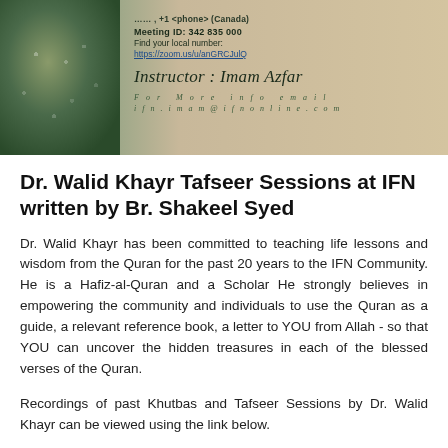[Figure (photo): Banner image with a crowd photo on the left (pilgrimage/Hajj scene) and text on a beige background on the right showing meeting ID, local number link, instructor name, and contact email]
Dr. Walid Khayr Tafseer Sessions at IFN written by Br. Shakeel Syed
Dr. Walid Khayr has been committed to teaching life lessons and wisdom from the Quran for the past 20 years to the IFN Community. He is a Hafiz-al-Quran and a Scholar He strongly believes in empowering the community and individuals to use the Quran as a guide, a relevant reference book, a letter to YOU from Allah - so that YOU can uncover the hidden treasures in each of the blessed verses of the Quran.
Recordings of past Khutbas and Tafseer Sessions by Dr. Walid Khayr can be viewed using the link below.